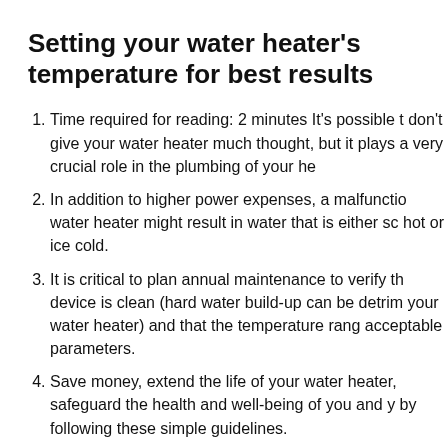Setting your water heater's temperature for best results
Time required for reading: 2 minutes It's possible t don't give your water heater much thought, but it plays a very crucial role in the plumbing of your he
In addition to higher power expenses, a malfunction water heater might result in water that is either sc hot or ice cold.
It is critical to plan annual maintenance to verify th device is clean (hard water build-up can be detrim your water heater) and that the temperature rang acceptable parameters.
Save money, extend the life of your water heater, safeguard the health and well-being of you and y by following these simple guidelines.